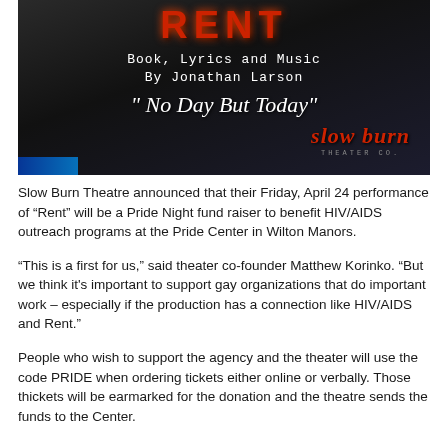[Figure (photo): Promotional image for Slow Burn Theatre Co. production of RENT. Dark background with red RENT title text, white text reading 'Book, Lyrics and Music By Jonathan Larson' and '"No Day But Today"', with Slow Burn Theater Co. logo in red italic text at bottom right.]
Slow Burn Theatre announced that their Friday, April 24 performance of “Rent” will be a Pride Night fund raiser to benefit HIV/AIDS outreach programs at the Pride Center in Wilton Manors.
“This is a first for us,” said theater co-founder Matthew Korinko. “But we think it's important to support gay organizations that do important work – especially if the production has a connection like HIV/AIDS and Rent.”
People who wish to support the agency and the theater will use the code PRIDE when ordering tickets either online or verbally. Those thickets will be earmarked for the donation and the theatre sends the funds to the Center.